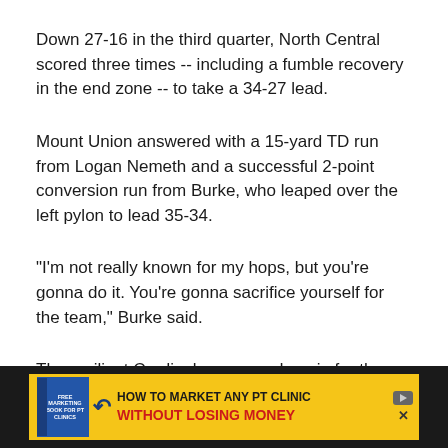Down 27-16 in the third quarter, North Central scored three times -- including a fumble recovery in the end zone -- to take a 34-27 lead.
Mount Union answered with a 15-yard TD run from Logan Nemeth and a successful 2-point conversion run from Burke, who leaped over the left pylon to lead 35-34.
"I'm not really known for my hops, but you're gonna do it. You're gonna sacrifice yourself for the team," Burke said.
The resilient Cardinals answered again for the 40-35 lead with 1:38 remaining, but a failed 2-point conversion (along with two previous blocked extra points and another missed extra-point attempt) gave the Purple Raiders their window.
[Figure (other): Advertisement banner: HOW TO MARKET ANY PT CLINIC WITHOUT LOSING MONEY with book graphic and arrow]